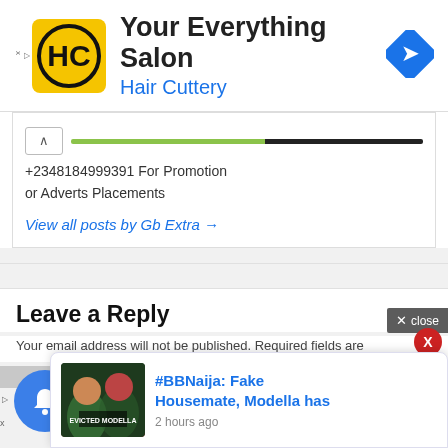[Figure (screenshot): Ad banner with yellow HC logo, text 'Your Everything Salon / Hair Cuttery', and blue navigation arrow icon on the right]
+2348184999391 For Promotion or Adverts Placements
View all posts by Gb Extra →
Leave a Reply
Your email address will not be published. Required fields are
ADVERTISEMENTS
[Figure (screenshot): Popup notification card showing '#BBNaija: Fake Housemate, Modella has' with image thumbnail, timestamp '2 hours ago', and close button with X]
[Figure (screenshot): Blue notification bell icon with red badge showing 3, and a checkmark]